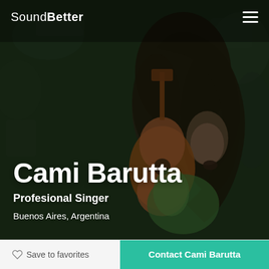SoundBetter
[Figure (photo): A woman with long curly hair playing guitar passionately, eyes closed, against a dark textured wall background. She is wearing a green floral outfit.]
Cami Barutta
Profesional Singer
Buenos Aires, Argentina
Save to favorites
Contact Cami Barutta